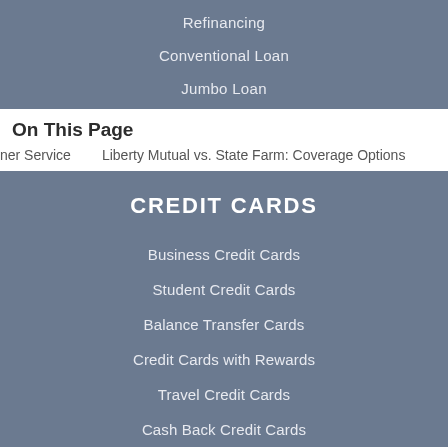Refinancing
Conventional Loan
Jumbo Loan
On This Page
ner Service        Liberty Mutual vs. State Farm: Coverage Options
CREDIT CARDS
Business Credit Cards
Student Credit Cards
Balance Transfer Cards
Credit Cards with Rewards
Travel Credit Cards
Cash Back Credit Cards